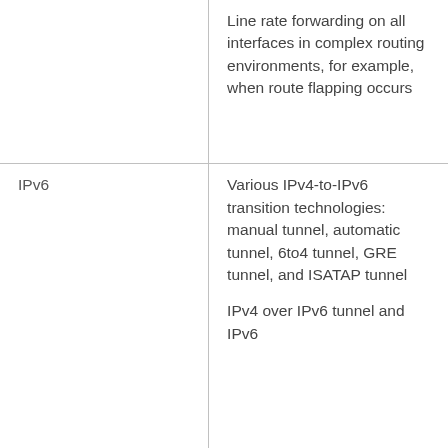|  | Line rate forwarding on all interfaces in complex routing environments, for example, when route flapping occurs |
| IPv6 | Various IPv4-to-IPv6 transition technologies: manual tunnel, automatic tunnel, 6to4 tunnel, GRE tunnel, and ISATAP tunnel

IPv4 over IPv6 tunnel and IPv6 |